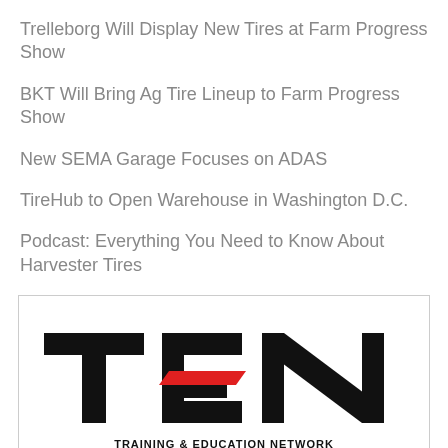Trelleborg Will Display New Tires at Farm Progress Show
BKT Will Bring Ag Tire Lineup to Farm Progress Show
New SEMA Garage Focuses on ADAS
TireHub to Open Warehouse in Washington D.C.
Podcast: Everything You Need to Know About Harvester Tires
[Figure (logo): TEN Training & Education Network logo — bold black letters T, E, N with a red diagonal stripe across the E, and text 'TRAINING & EDUCATION NETWORK' below]